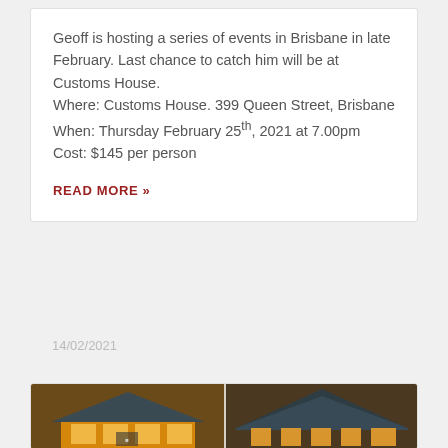Geoff is hosting a series of events in Brisbane in late February. Last chance to catch him will be at Customs House.
Where: Customs House. 399 Queen Street, Brisbane
When: Thursday February 25th, 2021 at 7.00pm
Cost: $145 per person
READ MORE »
14/02/2021
[Figure (photo): Photo of a building exterior at night with warm lighting, showing a roof structure and illuminated interior visible through windows. Two side-by-side photos.]